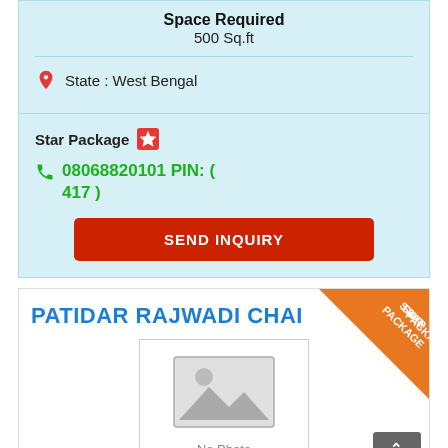Space Required
500 Sq.ft
State : West Bengal
Star Package
08068820101 PIN: ( 417 )
SEND INQUIRY
PATIDAR RAJWADI CHAI
[Figure (illustration): No photo placeholder image with mountain/landscape icon and text PATIDAR RAJWADI CHAI]
STAR PACKAGE
TOP